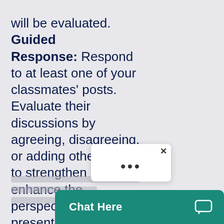will be evaluated. Guided Response: Respond to at least one of your classmates' posts. Evaluate their discussions by agreeing, disagreeing, or adding other ideas to strengthen or enhance the perspectives presented in their initial p...
[Figure (screenshot): A popup overlay with an X close button and three dots (ellipsis) menu indicator]
[Figure (screenshot): A teal Chat Here button bar at the bottom of the screen with a chat icon]